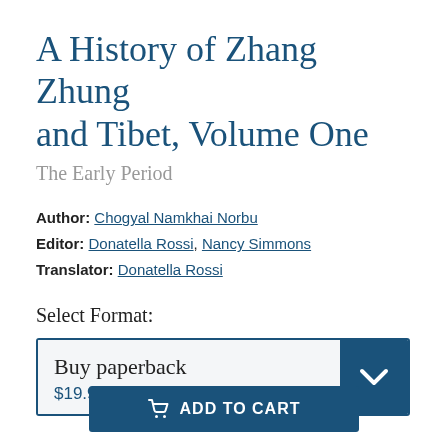A History of Zhang Zhung and Tibet, Volume One
The Early Period
Author: Chogyal Namkhai Norbu
Editor: Donatella Rossi, Nancy Simmons
Translator: Donatella Rossi
Select Format:
Buy paperback
$19.95
ADD TO CART